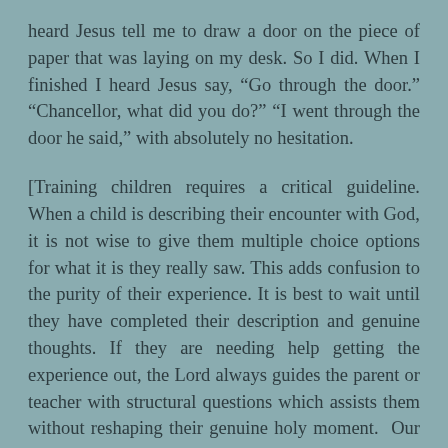heard Jesus tell me to draw a door on the piece of paper that was laying on my desk. So I did. When I finished I heard Jesus say, “Go through the door.” “Chancellor, what did you do?” “I went through the door he said,” with absolutely no hesitation.
[Training children requires a critical guideline. When a child is describing their encounter with God, it is not wise to give them multiple choice options for what it is they really saw. This adds confusion to the purity of their experience. It is best to wait until they have completed their description and genuine thoughts. If they are needing help getting the experience out, the Lord always guides the parent or teacher with structural questions which assists them without reshaping their genuine holy moment.  Our options can downplay what they really saw or